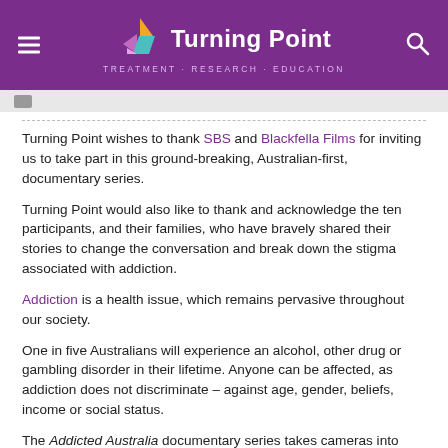Turning Point — TREATMENT · RESEARCH · EDUCATION
Turning Point wishes to thank SBS and Blackfella Films for inviting us to take part in this ground-breaking, Australian-first, documentary series.
Turning Point would also like to thank and acknowledge the ten participants, and their families, who have bravely shared their stories to change the conversation and break down the stigma associated with addiction.
Addiction is a health issue, which remains pervasive throughout our society.
One in five Australians will experience an alcohol, other drug or gambling disorder in their lifetime. Anyone can be affected, as addiction does not discriminate – against age, gender, beliefs, income or social status.
The Addicted Australia documentary series takes cameras into